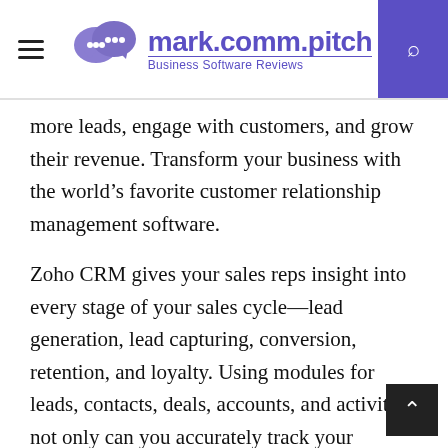mark.comm.pitch Business Software Reviews
more leads, engage with customers, and grow their revenue. Transform your business with the world’s favorite customer relationship management software.
Zoho CRM gives your sales reps insight into every stage of your sales cycle—lead generation, lead capturing, conversion, retention, and loyalty. Using modules for leads, contacts, deals, accounts, and activities, not only can you accurately track your business processes, you can also effectively identify opportunities for cross-selling and up-